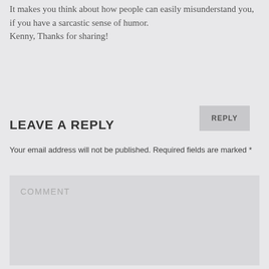It makes you think about how people can easily misunderstand you, if you have a sarcastic sense of humor.
Kenny, Thanks for sharing!
REPLY
LEAVE A REPLY
Your email address will not be published. Required fields are marked *
COMMENT